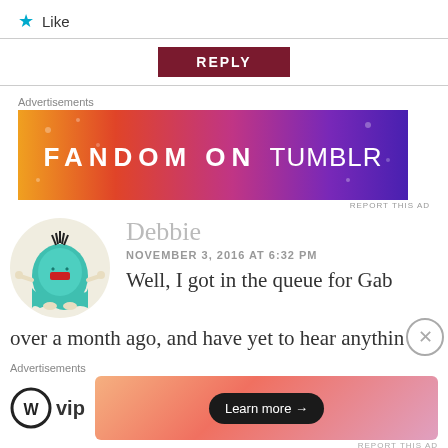★ Like
REPLY
Advertisements
[Figure (illustration): FANDOM ON tumblr advertisement banner with colorful gradient background from orange to purple]
REPORT THIS AD
[Figure (photo): Avatar of commenter Debbie - cartoon ghost character on light beige circle background]
Debbie
NOVEMBER 3, 2016 AT 6:32 PM
Well, I got in the queue for Gab
over a month ago, and have yet to hear anything
Advertisements
[Figure (logo): WordPress VIP logo - WP circle logo with vip text]
[Figure (illustration): Advertisement banner with coral/pink gradient and Learn more arrow button]
REPORT THIS AD